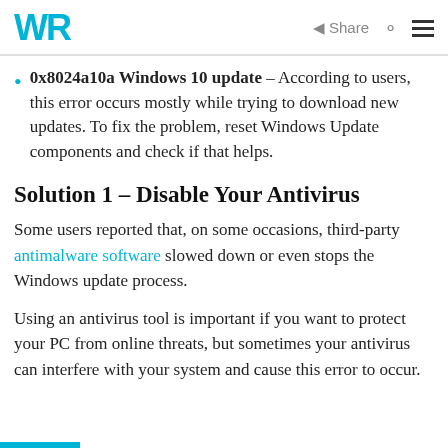WR | Share [search] [menu]
0x8024a10a Windows 10 update – According to users, this error occurs mostly while trying to download new updates. To fix the problem, reset Windows Update components and check if that helps.
Solution 1 – Disable Your Antivirus
Some users reported that, on some occasions, third-party antimalware software slowed down or even stops the Windows update process.
Using an antivirus tool is important if you want to protect your PC from online threats, but sometimes your antivirus can interfere with your system and cause this error to occur.